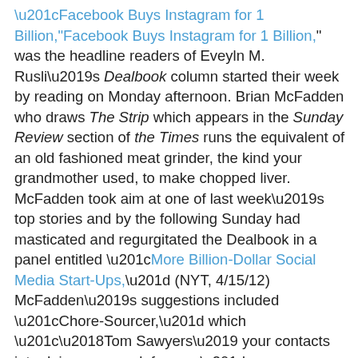“Facebook Buys Instagram for 1 Billion,” was the headline readers of Eveyln M. Rusli’s Dealbook column started their week by reading on Monday afternoon. Brian McFadden who draws The Strip which appears in the Sunday Review section of the Times runs the equivalent of an old fashioned meat grinder, the kind your grandmother used, to make chopped liver. McFadden took aim at one of last week’s top stories and by the following Sunday had masticated and regurgitated the Dealbook in a panel entitled “More Billion-Dollar Social Media Start-Ups,” (NYT, 4/15/12) McFadden’s suggestions included “Chore-Sourcer,” which “‘Tom Sawyers’ your contacts into doing your work for you,” “Slackify” which “randomly adds items to your timeline to make it seem like you have the time to goof around online,” and “Pocket Intervention,” which “tracks the number of bars you visit, auto-detects drunks dials and texts, then initiates an intervention.” The panels ended with a check made out to Brian McFadden by Mark Zuckerberg for One Billion for “cool ideas!” Here are some other possible apps that Zuckerberg might want to consider. “Finger Giver,” “which automatically gives the bird to your whole friend list once a day and twice on holidays.” “Locked Up,”  “an alternative to linked in for